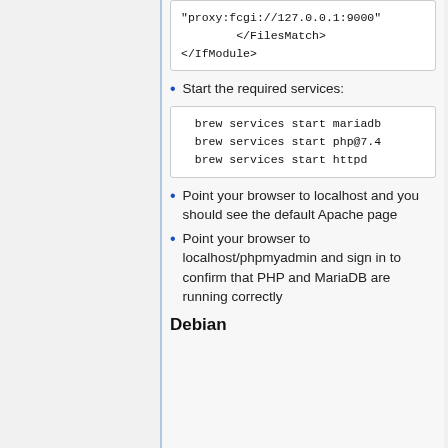"proxy:fcgi://127.0.0.1:9000"
        </FilesMatch>
</IfModule>
Start the required services:
brew services start mariadb
 brew services start php@7.4
 brew services start httpd
Point your browser to localhost and you should see the default Apache page
Point your browser to localhost/phpmyadmin and sign in to confirm that PHP and MariaDB are running correctly
Debian